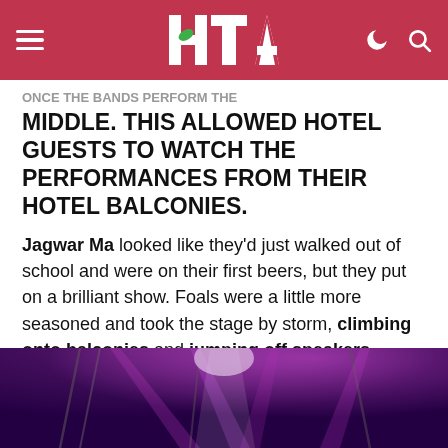HTA (logo with green leaf)
…ONCE THE BANDS PERFORM THE MIDDLE. THIS ALLOWED HOTEL GUESTS TO WATCH THE PERFORMANCES FROM THEIR HOTEL BALCONIES.
Jagwar Ma looked like they'd just walked out of school and were on their first beers, but they put on a brilliant show. Foals were a little more seasoned and took the stage by storm, climbing onto balconies and jumping off speakers, playing hits both old and new.
[Figure (photo): Concert stage lit with purple and pink lights, stage rigging visible, bright spotlight beams]